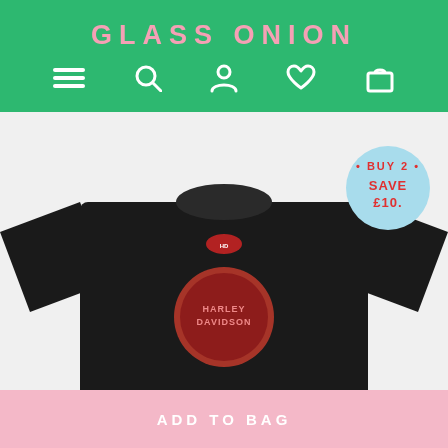GLASS ONION
[Figure (screenshot): E-commerce navigation bar on green background with hamburger menu, search, account, wishlist, and bag icons in white]
[Figure (photo): Black Harley Davidson graphic t-shirt with red circular logo on front, displayed flat on light gray background. A circular light blue badge in top right reads BUY 2 SAVE £10 in red text.]
ADD TO BAG